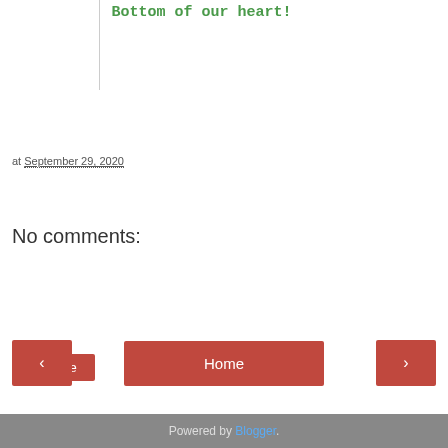Bottom of our heart!
at September 29, 2020
Share
No comments:
Post a Comment
Home
View web version
Powered by Blogger.